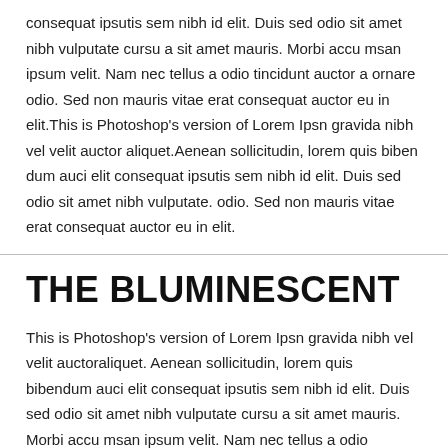consequat ipsutis sem nibh id elit. Duis sed odio sit amet nibh vulputate cursu a sit amet mauris. Morbi accu msan ipsum velit. Nam nec tellus a odio tincidunt auctor a ornare odio. Sed non mauris vitae erat consequat auctor eu in elit.This is Photoshop's version of Lorem Ipsn gravida nibh vel velit auctor aliquet.Aenean sollicitudin, lorem quis biben dum auci elit consequat ipsutis sem nibh id elit. Duis sed odio sit amet nibh vulputate. odio. Sed non mauris vitae erat consequat auctor eu in elit.
THE BLUMINESCENT
This is Photoshop's version of Lorem Ipsn gravida nibh vel velit auctoraliquet. Aenean sollicitudin, lorem quis bibendum auci elit consequat ipsutis sem nibh id elit. Duis sed odio sit amet nibh vulputate cursu a sit amet mauris. Morbi accu msan ipsum velit. Nam nec tellus a odio tincidunt auctor a ornare